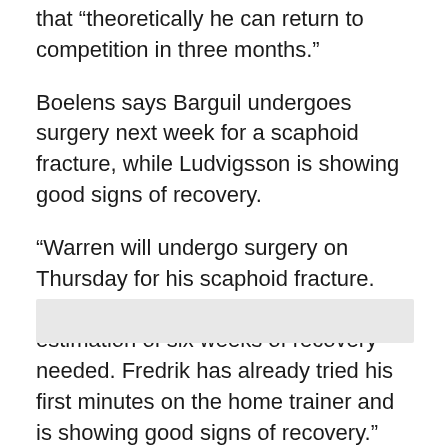that “theoretically he can return to competition in three months.”
Boelens says Barguil undergoes surgery next week for a scaphoid fracture, while Ludvigsson is showing good signs of recovery.
“Warren will undergo surgery on Thursday for his scaphoid fracture. This won’t change our earlier estimation of six weeks of recovery needed. Fredrik has already tried his first minutes on the home trainer and is showing good signs of recovery.”
[Figure (other): Gray rectangular placeholder box at the bottom of the page]